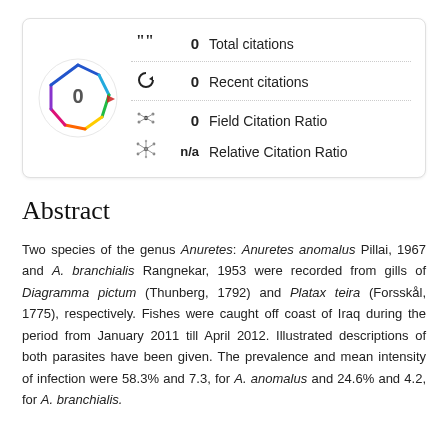[Figure (infographic): Citation metrics panel showing a colorful polygon badge with '0' in the center, and four metrics: 0 Total citations, 0 Recent citations, 0 Field Citation Ratio, n/a Relative Citation Ratio]
Abstract
Two species of the genus Anuretes: Anuretes anomalus Pillai, 1967 and A. branchialis Rangnekar, 1953 were recorded from gills of Diagramma pictum (Thunberg, 1792) and Platax teira (Forsskål, 1775), respectively. Fishes were caught off coast of Iraq during the period from January 2011 till April 2012. Illustrated descriptions of both parasites have been given. The prevalence and mean intensity of infection were 58.3% and 7.3, for A. anomalus and 24.6% and 4.2, for A. branchialis.